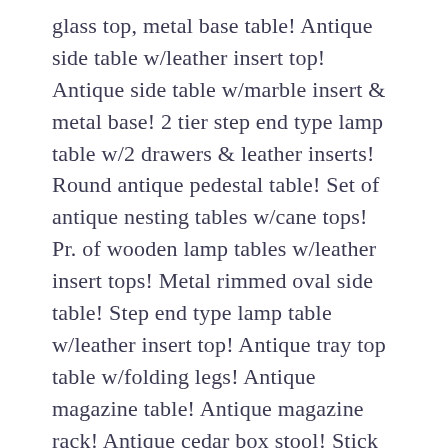glass top, metal base table! Antique side table w/leather insert top! Antique side table w/marble insert & metal base! 2 tier step end type lamp table w/2 drawers & leather inserts! Round antique pedestal table! Set of antique nesting tables w/cane tops! Pr. of wooden lamp tables w/leather insert tops! Metal rimmed oval side table! Step end type lamp table w/leather insert top! Antique tray top table w/folding legs! Antique magazine table! Antique magazine rack! Antique cedar box stool! Stick & ball shelf! Antique display shelf! Small 3 shelf wall shelf w/mirrored back! Antique walnut 3 tier wall shelf! 4 shelf wall shelf! Pr. of brass & china electric lamps! Pr. of painted china base lamps! Antique figural base lamp! Brass reading lamp! Antique floor lamp w/painted shade! Antique brass floor lamp! Lot of